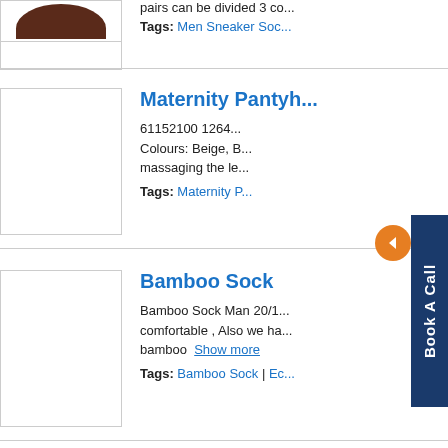pairs can be divided 3 co...
Tags: Men Sneaker Soc...
Maternity Pantyh...
61152100 1264... Colours: Beige, B... massaging the le...
Tags: Maternity P...
Bamboo Sock
Bamboo Sock Man 20/1... comfortable , Also we ha... bamboo  Show more
Tags: Bamboo Sock | Ec...